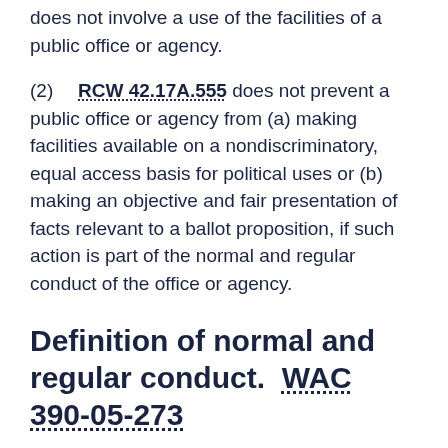does not involve a use of the facilities of a public office or agency.
(2)   RCW 42.17A.555 does not prevent a public office or agency from (a) making facilities available on a nondiscriminatory, equal access basis for political uses or (b) making an objective and fair presentation of facts relevant to a ballot proposition, if such action is part of the normal and regular conduct of the office or agency.
Definition of normal and regular conduct.  WAC 390-05-273
Normal and regular conduct of a public office or agency, as that term is used in the proviso to RCW 42.17A.555, means conduct which is (1) lawful, i.e., specifically authorized, either expressly or by